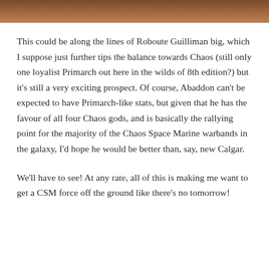[Figure (photo): Brown/tan colored image bar at the top of the page]
This could be along the lines of Roboute Guilliman big, which I suppose just further tips the balance towards Chaos (still only one loyalist Primarch out here in the wilds of 8th edition?) but it's still a very exciting prospect. Of course, Abaddon can't be expected to have Primarch-like stats, but given that he has the favour of all four Chaos gods, and is basically the rallying point for the majority of the Chaos Space Marine warbands in the galaxy, I'd hope he would be better than, say, new Calgar.
We'll have to see! At any rate, all of this is making me want to get a CSM force off the ground like there's no tomorrow!